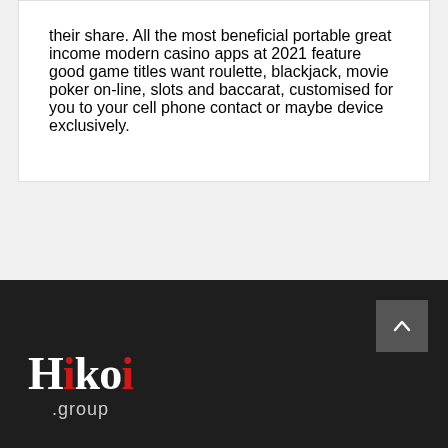their share. All the most beneficial portable great income modern casino apps at 2021 feature good game titles want roulette, blackjack, movie poker on-line, slots and baccarat, customised for you to your cell phone contact or maybe device exclusively.
[Figure (logo): Hikoi group logo in white and red on dark background]